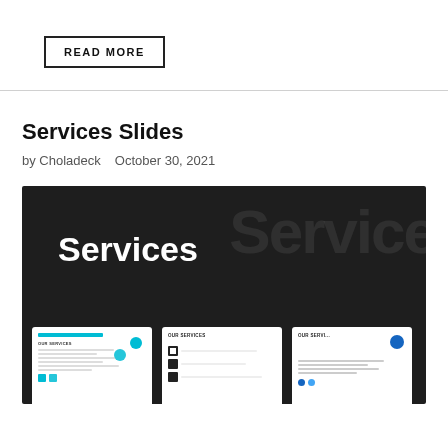READ MORE
Services Slides
by Choladeck   October 30, 2021
[Figure (screenshot): Dark background promotional image for 'Services Slides' showing the word 'Services' in bold white text, with a large faint 'Service' watermark text in the background, and three white slide cards visible at the bottom showing service presentation templates.]